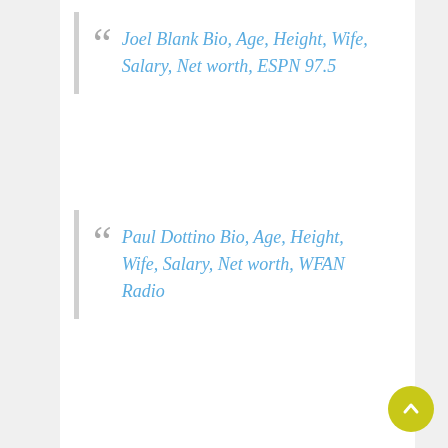Joel Blank Bio, Age, Height, Wife, Salary, Net worth, ESPN 97.5
Paul Dottino Bio, Age, Height, Wife, Salary, Net worth, WFAN Radio